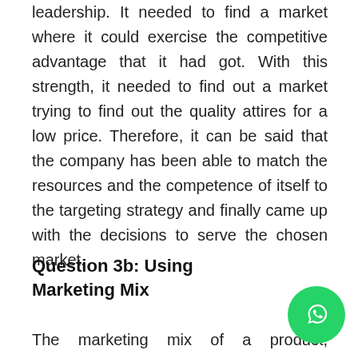leadership. It needed to find a market where it could exercise the competitive advantage that it had got. With this strength, it needed to find out a market trying to find out the quality attires for a low price. Therefore, it can be said that the company has been able to match the resources and the competence of itself to the targeting strategy and finally came up with the decisions to serve the chosen market.
Question 3b: Using Marketing Mix
The marketing mix of a product, according